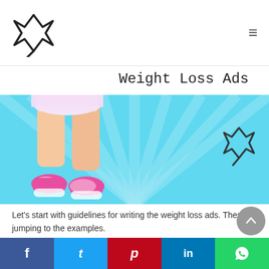[Figure (logo): Arrow/star-like logo in top left navigation bar]
Weight Loss Ads
[Figure (illustration): Hero banner with cartoon female legs wearing pink sneakers against a light blue radial ray background, with a small logo watermark in the bottom right]
Let’s start with guidelines for writing the weight loss ads. Then jumping to the examples.
Content Snap
Anatomy of a Weight Lo…
[Figure (other): Social share bar with Facebook, Twitter, Pinterest, LinkedIn, WhatsApp buttons]